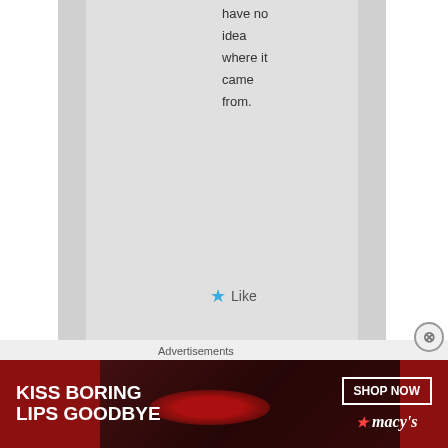have no idea where it came from.
★ Like
[Figure (illustration): Small cartoon bird avatar for user Susan]
Susan on July 6, 2016 at 12:33 am said:
Advertisements
[Figure (photo): Macy's advertisement banner showing woman's face with red lips, text: KISS BORING LIPS GOODBYE, SHOP NOW, Macy's logo]